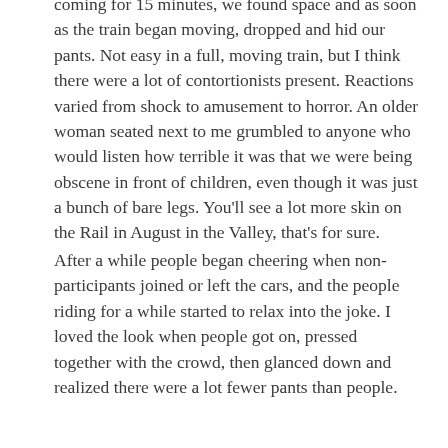coming for 15 minutes, we found space and as soon as the train began moving, dropped and hid our pants. Not easy in a full, moving train, but I think there were a lot of contortionists present. Reactions varied from shock to amusement to horror. An older woman seated next to me grumbled to anyone who would listen how terrible it was that we were being obscene in front of children, even though it was just a bunch of bare legs. You'll see a lot more skin on the Rail in August in the Valley, that's for sure.
After a while people began cheering when non-participants joined or left the cars, and the people riding for a while started to relax into the joke. I loved the look when people got on, pressed together with the crowd, then glanced down and realized there were a lot fewer pants than people.